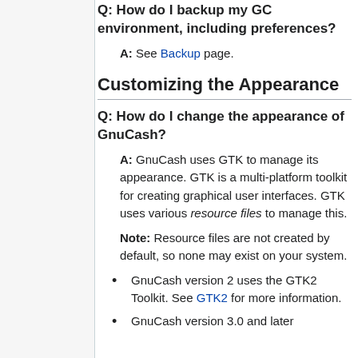Q: How do I backup my GC environment, including preferences?
A: See Backup page.
Customizing the Appearance
Q: How do I change the appearance of GnuCash?
A: GnuCash uses GTK to manage its appearance. GTK is a multi-platform toolkit for creating graphical user interfaces. GTK uses various resource files to manage this.
Note: Resource files are not created by default, so none may exist on your system.
GnuCash version 2 uses the GTK2 Toolkit. See GTK2 for more information.
GnuCash version 3.0 and later